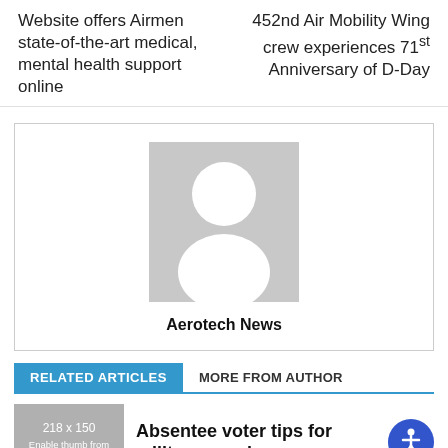Website offers Airmen state-of-the-art medical, mental health support online
452nd Air Mobility Wing crew experiences 71st Anniversary of D-Day
[Figure (illustration): Author profile box with grey placeholder avatar and bold text 'Aerotech News' centered below it]
RELATED ARTICLES   MORE FROM AUTHOR
[Figure (illustration): Grey thumbnail placeholder showing '218 x 150' and 'Enable thumb from THEME PANEL']
Absentee voter tips for military members